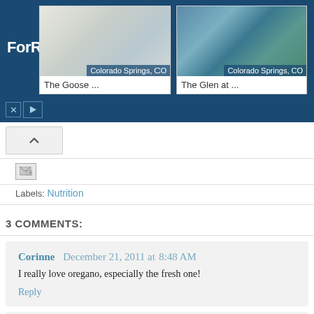[Figure (screenshot): ForRent.com advertisement banner showing two apartment listings in Colorado Springs, CO: The Goose... and The Glen at...]
Labels: Nutrition
3 COMMENTS:
Corinne  December 21, 2011 at 8:48 AM
I really love oregano, especially the fresh one!
Reply
Kathy Garolsky  December 22, 2011 at 2:27 AM
Thanks for sharing this